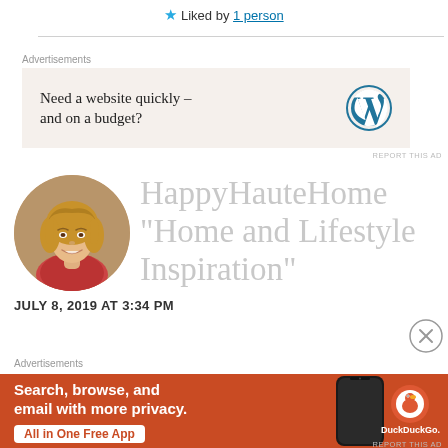★ Liked by 1 person
[Figure (illustration): WordPress advertisement banner: 'Need a website quickly – and on a budget?' with WordPress logo]
[Figure (photo): Circular profile photo of a blonde woman smiling, representing HappyHauteHome blog author]
HappyHauteHome "Home and Lifestyle Inspiration"
JULY 8, 2019 AT 3:34 PM
[Figure (illustration): DuckDuckGo advertisement banner: 'Search, browse, and email with more privacy. All in One Free App' with phone and DuckDuckGo logo]